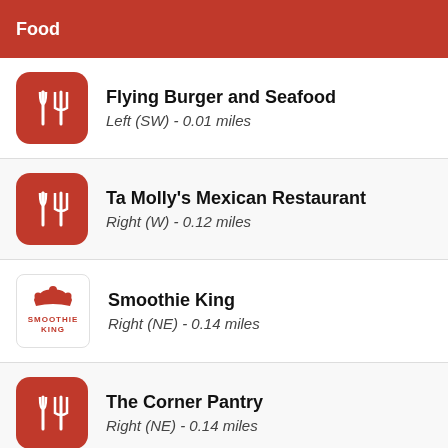Food
Flying Burger and Seafood
Left (SW) - 0.01 miles
Ta Molly's Mexican Restaurant
Right (W) - 0.12 miles
Smoothie King
Right (NE) - 0.14 miles
The Corner Pantry
Right (NE) - 0.14 miles
Baskin Robbins